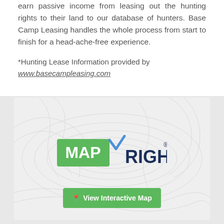earn passive income from leasing out the hunting rights to their land to our database of hunters. Base Camp Leasing handles the whole process from start to finish for a head-ache-free experience.
*Hunting Lease Information provided by www.basecampleasing.com
[Figure (logo): MapRight logo on topographic map background with green button labeled 'View Interactive Map']